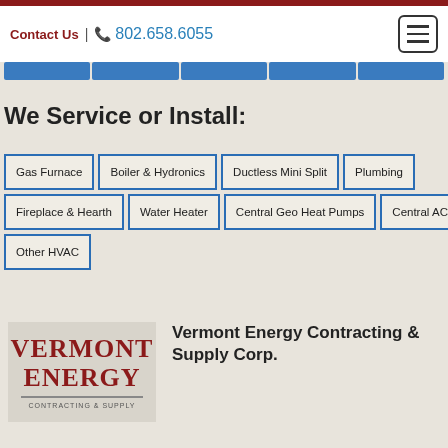Contact Us | 802.658.6055
We Service or Install:
Gas Furnace
Boiler & Hydronics
Ductless Mini Split
Plumbing
Fireplace & Hearth
Water Heater
Central Geo Heat Pumps
Central AC
Other HVAC
[Figure (logo): Vermont Energy logo with red bold text VERMONT ENERGY on beige background]
Vermont Energy Contracting & Supply Corp.